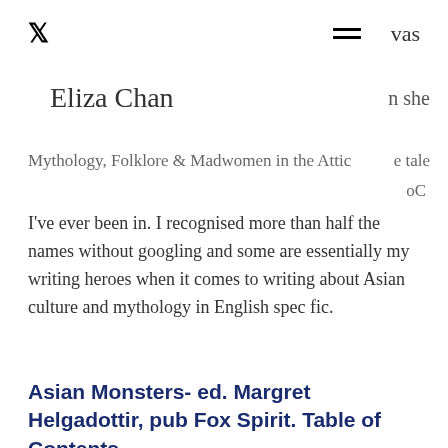Eliza Chan
Mythology, Folklore & Madwomen in the Attic
I've ever been in. I recognised more than half the names without googling and some are essentially my writing heroes when it comes to writing about Asian culture and mythology in English spec fic.
Asian Monsters- ed. Margret Helgadottir, pub Fox Spirit. Table of Contents
Xia Jia: ‘A Hundred Ghosts Parade Tonight’ (translated by Ken Liu)